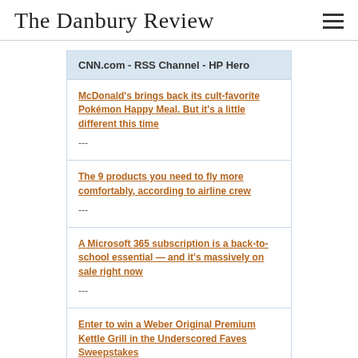The Danbury Review
CNN.com - RSS Channel - HP Hero
McDonald’s brings back its cult-favorite Pokémon Happy Meal. But it's a little different this time
---
The 9 products you need to fly more comfortably, according to airline crew
---
A Microsoft 365 subscription is a back-to-school essential — and it's massively on sale right now
---
Enter to win a Weber Original Premium Kettle Grill in the Underscored Faves Sweepstakes